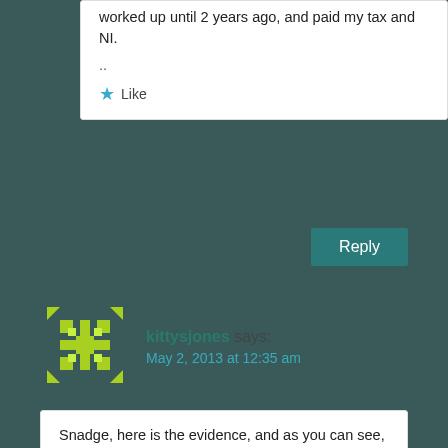worked up until 2 years ago, and paid my tax and NI.
..
Like
Reply
kittysjones says:
May 2, 2013 at 12:35 am
Snadge, here is the evidence, and as you can see, it WAS made public: http://www.guardian.co.uk/commentisfree/2012/jul/31/disabled-people-benefits-panorama